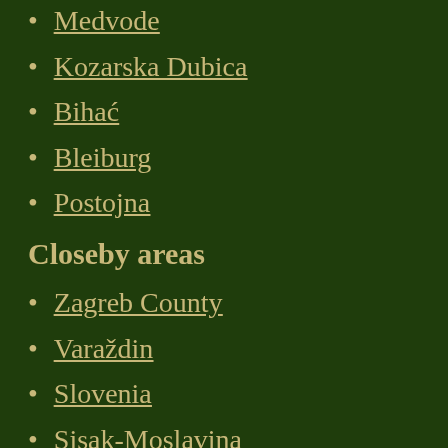Medvode
Kozarska Dubica
Bihać
Bleiburg
Postojna
Closeby areas
Zagreb County
Varaždin
Slovenia
Sisak-Moslavina
Krapina-Zagorje
Koprivnica-Križevci
Karlovac
Bjelovar-Bilogora